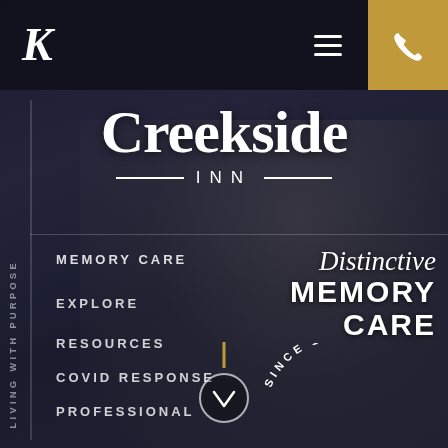[Figure (screenshot): Website screenshot of Creekside Inn memory care facility. Dark navy background with elderly person photo overlay. Top navigation bar with stylized K logo, hamburger menu, and gold phone button. Central Creekside Inn logo in large serif font. Navigation menu items on left: MEMORY CARE, EXPLORE, RESOURCES, COVID RESPONSE, PROFESSIONAL. Right side shows 'Distinctive MEMORY CARE' with 'SINCE 1958' arc text. Vertical text 'LIVING WITH PURPOSE' on far left. Gold scroll indicator with down arrow.]